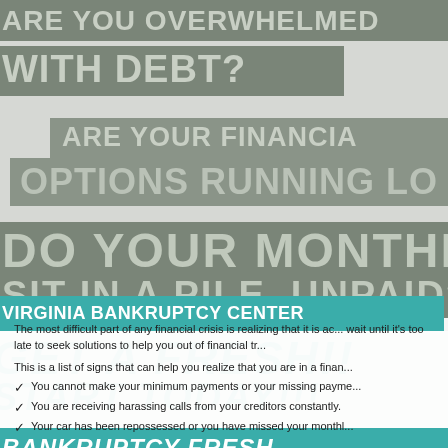ARE YOU OVERWHELMED WITH DEBT?
ARE YOUR FINANCIAL OPTIONS RUNNING LO
DO YOUR MONTHLY BILLS SIT IN A PILE, UNPAID?
Virginia Bankruptcy Center
GET A FRESH!! START TODAY!!!
BANKRUPTCY FRESH
The most difficult part of any financial crisis is realizing that it is ac... wait until it's too late to seek solutions to help you out of financial tr...
This is a list of signs that can help you realize that you are in a finan...
You cannot make your minimum payments or your missing payme...
You are receiving harassing calls from your creditors constantly.
Your car has been repossessed or you have missed your monthl...